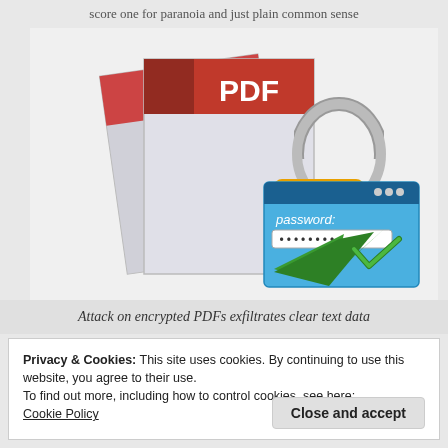score one for paranoia and just plain common sense
[Figure (illustration): Illustration of PDF documents with a padlock and password dialog showing 'password:' with asterisks and a green checkmark, representing encrypted PDF security]
Attack on encrypted PDFs exfiltrates clear text data
Privacy & Cookies: This site uses cookies. By continuing to use this website, you agree to their use.
To find out more, including how to control cookies, see here:
Cookie Policy
Close and accept